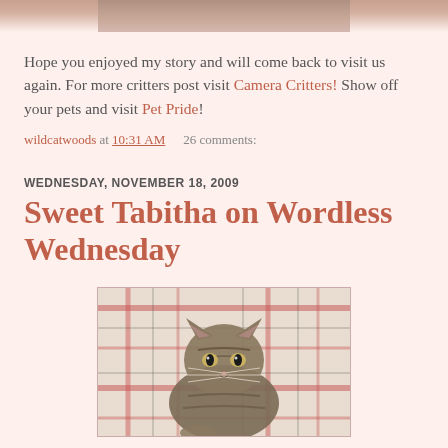[Figure (photo): Partial top image of a cat or animal, cropped at the top of the page]
Hope you enjoyed my story and will come back to visit us again. For more critters post visit Camera Critters! Show off your pets and visit Pet Pride!
wildcatwoods at 10:31 AM    26 comments:
WEDNESDAY, NOVEMBER 18, 2009
Sweet Tabitha on Wordless Wednesday
[Figure (photo): A tabby cat sitting on a plaid fabric background, looking at the camera]